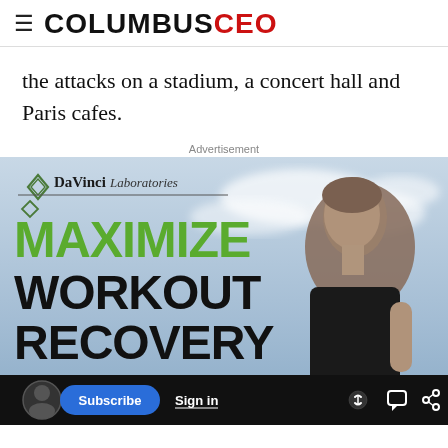≡ COLUMBUSCEO
the attacks on a stadium, a concert hall and Paris cafes.
Advertisement
[Figure (photo): DaVinci Laboratories advertisement banner showing a middle-aged man running outdoors with text 'MAXIMIZE WORKOUT RECOVERY' and the DaVinci Laboratories logo. Bottom toolbar shows Subscribe, Sign in, and navigation icon buttons.]